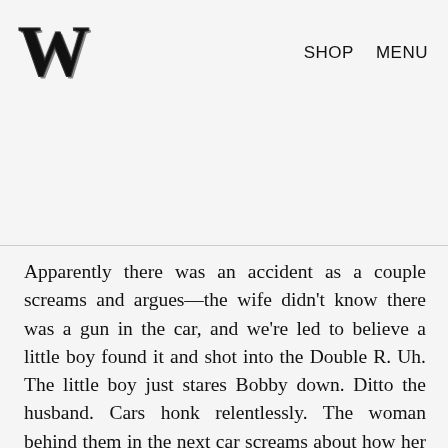W  SHOP  MENU
Apparently there was an accident as a couple screams and argues—the wife didn't know there was a gun in the car, and we're led to believe a little boy found it and shot into the Double R. Uh. The little boy just stares Bobby down. Ditto the husband. Cars honk relentlessly. The woman behind them in the next car screams about how her girl is sick and they have to get home. A little girl in